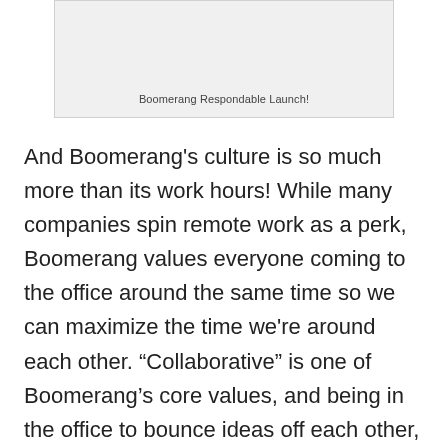[Figure (other): Light gray placeholder image box with caption 'Boomerang Respondable Launch!']
Boomerang Respondable Launch!
And Boomerang's culture is so much more than its work hours! While many companies spin remote work as a perk, Boomerang values everyone coming to the office around the same time so we can maximize the time we're around each other. “Collaborative” is one of Boomerang’s core values, and being in the office to bounce ideas off each other, pair program, or ask questions is a big part of that. When lunch comes around, we all split up to get food from whatever